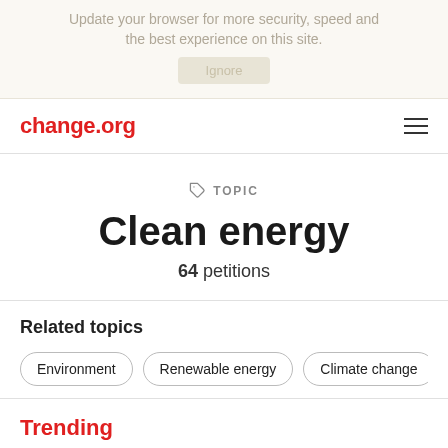Update your browser for more security, speed and the best experience on this site. Ignore
change.org
Clean energy
TOPIC
64 petitions
Related topics
Environment
Renewable energy
Climate change
Local
Cli...
Trending Most...